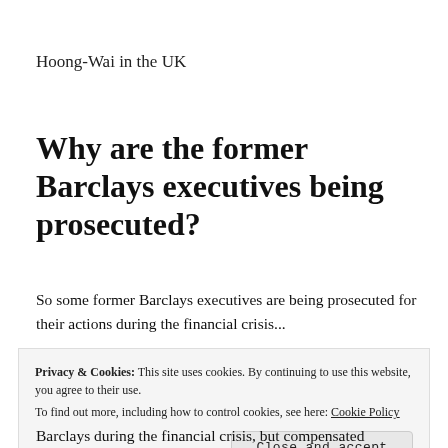Hoong-Wai in the UK
Why are the former Barclays executives being prosecuted?
So some former Barclays executives are being prosecuted for their actions during the financial crisis...
https://www.bloomberg.com/amp/news/articles/2019-
Privacy & Cookies: This site uses cookies. By continuing to use this website, you agree to their use.
To find out more, including how to control cookies, see here: Cookie Policy
Close and accept
Barclays during the financial crisis, but compensated